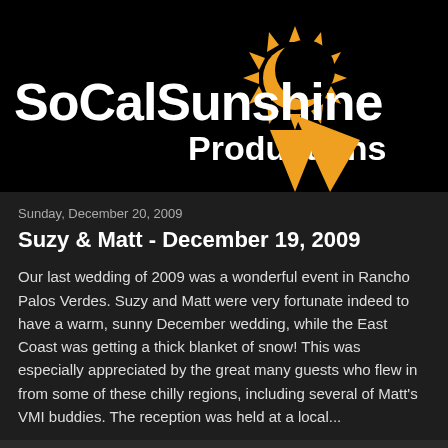[Figure (logo): SoCalSunshine Productions logo: black background with orange sun graphic and white text 'SoCalSunshine Productions']
Sunday, December 20, 2009
Suzy & Matt - December 19, 2009
Our last wedding of 2009 was a wonderful event in Rancho Palos Verdes. Suzy and Matt were very fortunate indeed to have a warm, sunny December wedding, while the East Coast was getting a thick blanket of snow! This was especially appreciated by the great many guests who flew in from some of these chilly regions, including several of Matt's VMI buddies. The reception was held at a local...